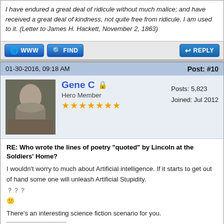I have endured a great deal of ridicule without much malice; and have received a great deal of kindness, not quite free from ridicule. I am used to it. (Letter to James H. Hackett, November 2, 1863)
01-30-2016, 09:18 AM   Post: #10
Gene C  Hero Member  Posts: 5,823  Joined: Jul 2012
RE: Who wrote the lines of poetry "quoted" by Lincoln at the Soldiers' Home?
I wouldn't worry to much about Artificial intelligence. If it starts to get out of hand some one will unleash Artificial Stupidity. ??? There's an interesting science fiction scenario for you.
So when is this "Old Enough To Know Better" supposed to kick in?
01-30-2016, 09:40 AM (This post was last modified: 01-30-2016 09:42 AM by Eva